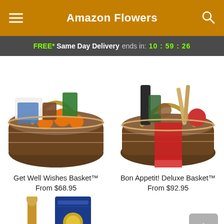Amazon Flowers
FREE* Same Day Delivery ends in: 10 : 59 : 26
[Figure (photo): Get Well Wishes Basket gift basket with oranges, tissues, and various snacks in a wicker basket]
Get Well Wishes Basket™
From $68.95
[Figure (photo): Bon Appetit! Deluxe Basket gift basket with Italian food items, red kitchen towel, and gourmet pantry products in a wicker basket]
Bon Appetit! Deluxe Basket™
From $92.95
[Figure (photo): Partial view of a third product basket with wooden spoon and blue pasta packaging visible at bottom of page]